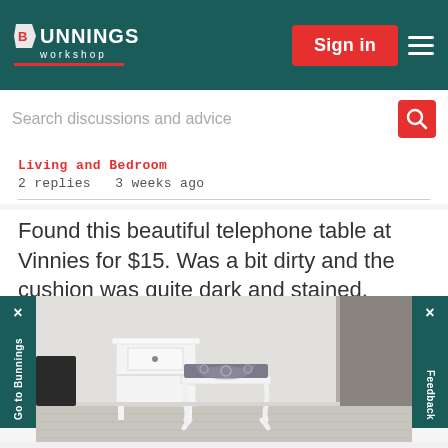BUNNINGS workshop — Sign in
Search discussions and advice
Living and Bedroom
2 replies   3 weeks ago
Found this beautiful telephone table at Vinnies for $15. Was a bit dirty and the cushion was quite dark and stained. Steam cleaned the cushion. We ...
[Figure (photo): White painted vintage telephone table with a patterned cushion seat, photographed against a light grey wall on a timber laminate floor. The table has a small drawer and open shelf on the left side, with elegant curved legs.]